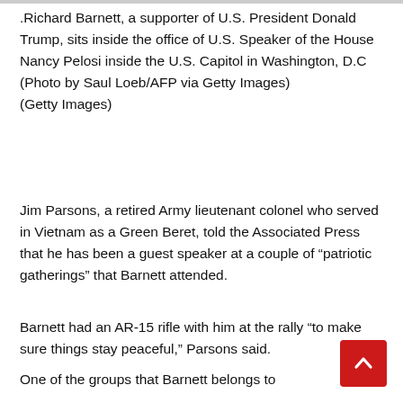.Richard Barnett, a supporter of U.S. President Donald Trump, sits inside the office of U.S. Speaker of the House Nancy Pelosi inside the U.S. Capitol in Washington, D.C (Photo by Saul Loeb/AFP via Getty Images) (Getty Images)
Jim Parsons, a retired Army lieutenant colonel who served in Vietnam as a Green Beret, told the Associated Press that he has been a guest speaker at a couple of “patriotic gatherings” that Barnett attended.
Barnett had an AR-15 rifle with him at the rally “to make sure things stay peaceful,” Parsons said.
One of the groups that Barnett belongs to